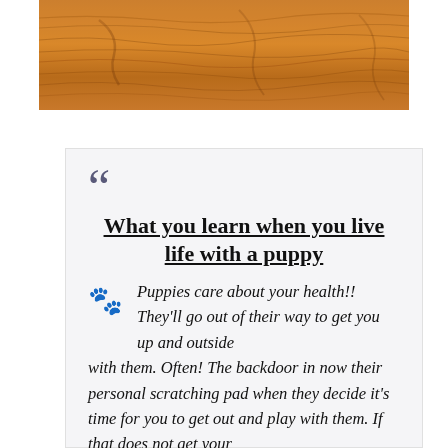[Figure (photo): Close-up photo of wooden surface with visible grain texture in warm brown/orange tones]
What you learn when you live life with a puppy
Puppies care about your health!!  They'll go out of their way to get you up and outside with them.  Often!  The backdoor in now their personal scratching pad when they decide it's time for you to get out and play with them.  If that does not get your